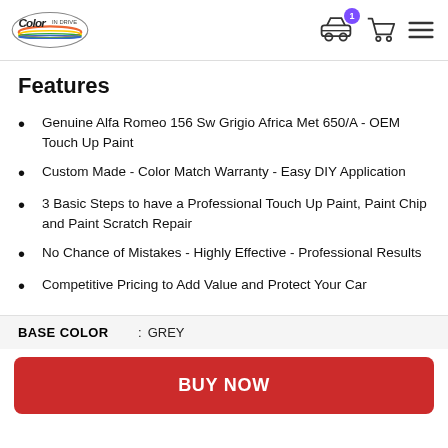Color In Drive logo with car icon (badge: 1), cart icon, menu icon
Features
Genuine Alfa Romeo 156 Sw Grigio Africa Met 650/A - OEM Touch Up Paint
Custom Made - Color Match Warranty - Easy DIY Application
3 Basic Steps to have a Professional Touch Up Paint, Paint Chip and Paint Scratch Repair
No Chance of Mistakes - Highly Effective - Professional Results
Competitive Pricing to Add Value and Protect Your Car
| BASE COLOR | : | GREY |
| --- | --- | --- |
BUY NOW